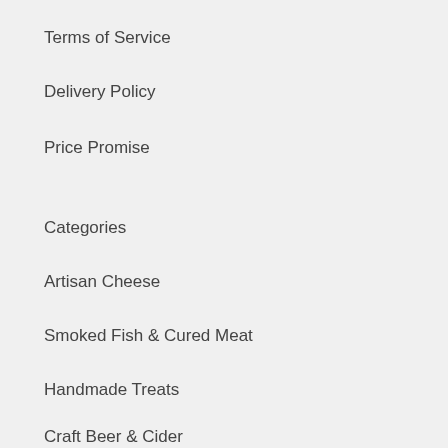Terms of Service
Delivery Policy
Price Promise
Categories
Artisan Cheese
Smoked Fish & Cured Meat
Handmade Treats
Craft Beer & Cider